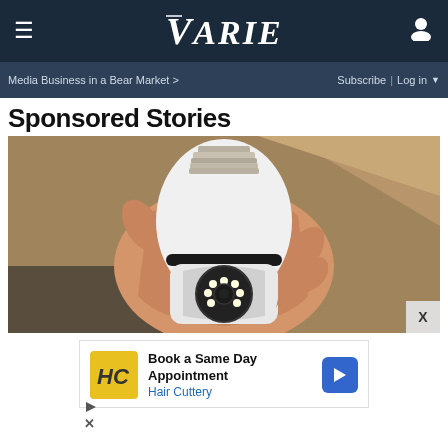≡  VARIETY  (user icon)
Media Business in a Bear Market >   Subscribe | Log in ▼
Sponsored Stories
[Figure (photo): A hand holding a white security camera shaped like a light bulb with an LED ring and lens at the bottom and a metal screw base at the top.]
[Figure (infographic): Advertisement: Book a Same Day Appointment — Hair Cuttery, with HC logo in yellow and a blue directional arrow icon.]
▷
✕